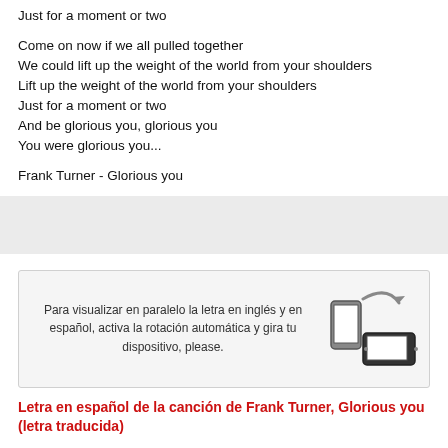Just for a moment or two

Come on now if we all pulled together
We could lift up the weight of the world from your shoulders
Lift up the weight of the world from your shoulders
Just for a moment or two
And be glorious you, glorious you
You were glorious you...
Frank Turner - Glorious you
[Figure (infographic): Gray advertisement banner]
Para visualizar en paralelo la letra en inglés y en español, activa la rotación automática y gira tu dispositivo, please.
[Figure (illustration): Icon showing phone rotation from portrait to landscape with an arrow]
Letra en español de la canción de Frank Turner, Glorious you (letra traducida)